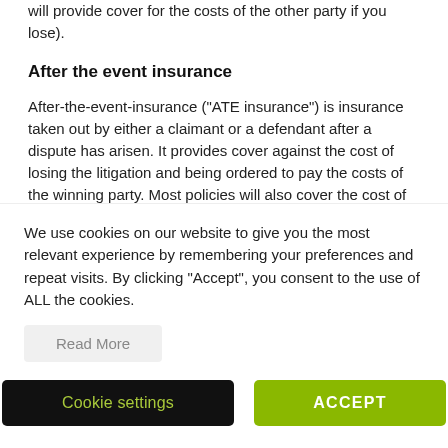will provide cover for the costs of the other party if you lose).
After the event insurance
After-the-event-insurance (“ATE insurance”) is insurance taken out by either a claimant or a defendant after a dispute has arisen. It provides cover against the cost of losing the litigation and being ordered to pay the costs of the winning party. Most policies will also cover the cost of your own disbursements, such as your barrister’s fees.
The premiums are usually quite high, and can often be up to 70% of the cover provided. However, usually it is possible to
We use cookies on our website to give you the most relevant experience by remembering your preferences and repeat visits. By clicking “Accept”, you consent to the use of ALL the cookies.
Read More
Cookie settings
ACCEPT